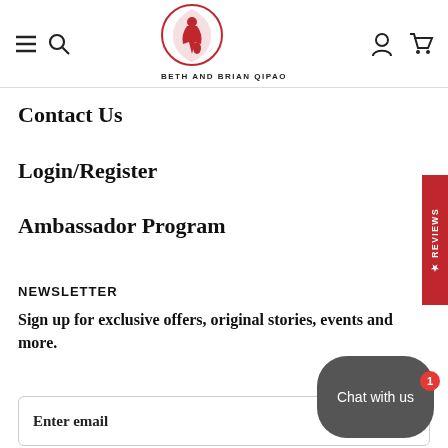[Figure (logo): Beth and Brian Qipao logo — red circular emblem with stylized figure and the text BETH AND BRIAN QIPAO below]
Contact Us
Login/Register
Ambassador Program
NEWSLETTER
Sign up for exclusive offers, original stories, events and more.
Enter email